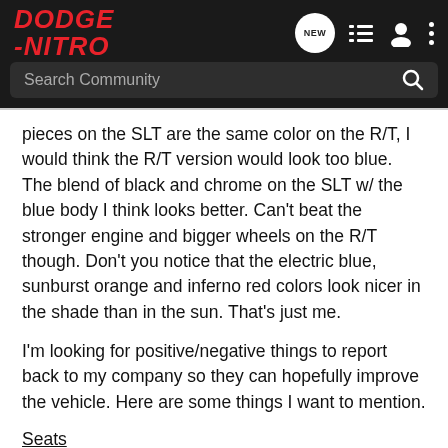[Figure (screenshot): Dodge Nitro community forum navigation bar with logo, search bar, and icons]
pieces on the SLT are the same color on the R/T, I would think the R/T version would look too blue. The blend of black and chrome on the SLT w/ the blue body I think looks better. Can't beat the stronger engine and bigger wheels on the R/T though. Don't you notice that the electric blue, sunburst orange and inferno red colors look nicer in the shade than in the sun. That's just me.
I'm looking for positive/negative things to report back to my company so they can hopefully improve the vehicle. Here are some things I want to mention.
Seats
1. I really like the front seat side bolsters as it really hugs your body. I wish I could lower the drivers seat some more. Being